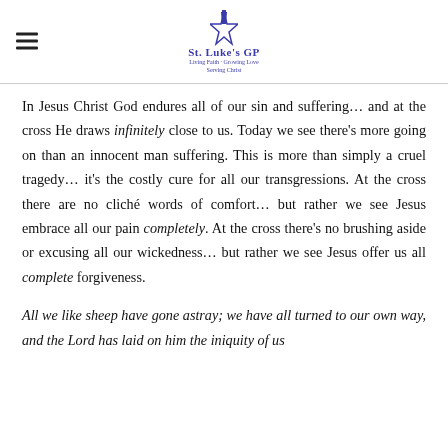St. Luke's GP — Living Faith · Growing Love · Serving Christ
In Jesus Christ God endures all of our sin and suffering… and at the cross He draws infinitely close to us. Today we see there's more going on than an innocent man suffering. This is more than simply a cruel tragedy… it's the costly cure for all our transgressions. At the cross there are no cliché words of comfort… but rather we see Jesus embrace all our pain completely. At the cross there's no brushing aside or excusing all our wickedness… but rather we see Jesus offer us all complete forgiveness.
All we like sheep have gone astray; we have all turned to our own way, and the Lord has laid on him the iniquity of us